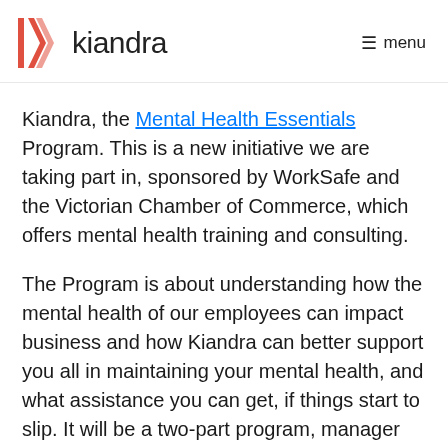kiandra  menu
Kiandra, the Mental Health Essentials Program. This is a new initiative we are taking part in, sponsored by WorkSafe and the Victorian Chamber of Commerce, which offers mental health training and consulting.
The Program is about understanding how the mental health of our employees can impact business and how Kiandra can better support you all in maintaining your mental health, and what assistance you can get, if things start to slip. It will be a two-part program, manager specific training and then companywide